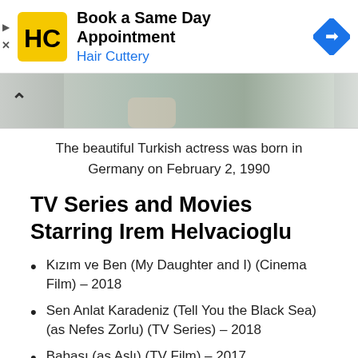[Figure (other): Hair Cuttery advertisement banner with logo and navigation icon. Text: Book a Same Day Appointment / Hair Cuttery]
[Figure (photo): Partial photo of a person in gray/green clothing near a wooden surface, with a chevron/up arrow on the left side]
The beautiful Turkish actress was born in Germany on February 2, 1990
TV Series and Movies Starring Irem Helvacioglu
Kızım ve Ben (My Daughter and I) (Cinema Film) – 2018
Sen Anlat Karadeniz (Tell You the Black Sea) (as Nefes Zorlu) (TV Series) – 2018
Babası (as Aslı) (TV Film) – 2017